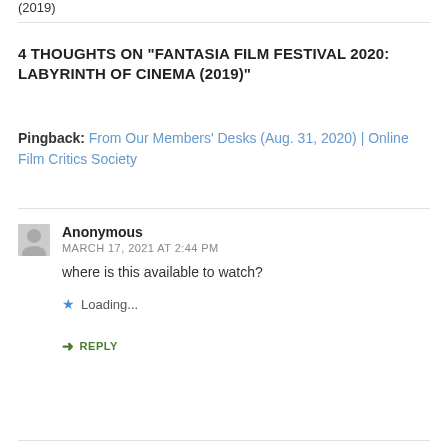(2019)
4 THOUGHTS ON “FANTASIA FILM FESTIVAL 2020: LABYRINTH OF CINEMA (2019)”
Pingback: From Our Members’ Desks (Aug. 31, 2020) | Online Film Critics Society
Anonymous
MARCH 17, 2021 AT 2:44 PM
where is this available to watch?
Loading...
REPLY